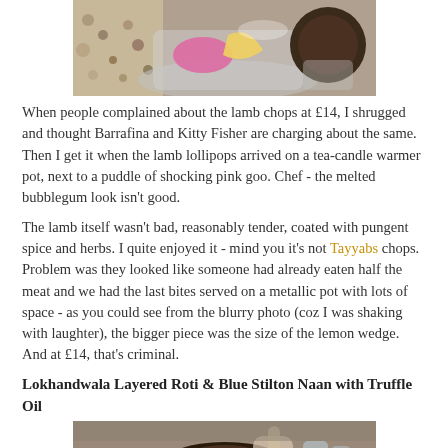[Figure (photo): Close-up of lamb chops on a metallic/silver pot with a lemon wedge and shocking pink sauce, alongside chopped nuts/grains. Dark fried item visible on the right.]
When people complained about the lamb chops at £14, I shrugged and thought Barrafina and Kitty Fisher are charging about the same. Then I get it when the lamb lollipops arrived on a tea-candle warmer pot, next to a puddle of shocking pink goo. Chef - the melted bubblegum look isn't good.
The lamb itself wasn't bad, reasonably tender, coated with pungent spice and herbs. I quite enjoyed it - mind you it's not Tayyabs chops. Problem was they looked like someone had already eaten half the meat and we had the last bites served on a metallic pot with lots of space - as you could see from the blurry photo (coz I was shaking with laughter), the bigger piece was the size of the lemon wedge. And at £14, that's criminal.
Lokhandwala Layered Roti & Blue Stilton Naan with Truffle Oil
[Figure (photo): Food served in a dark round dish/bowl on a table, with hands visible, and glasses in background. Pink sauce and lemon wedge visible.]